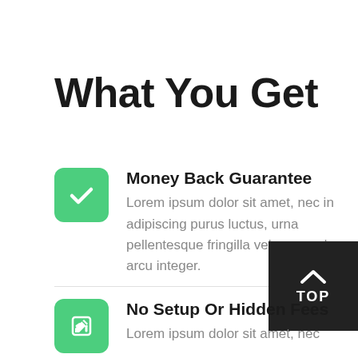What You Get
Money Back Guarantee
Lorem ipsum dolor sit amet, nec in adipiscing purus luctus, urna pellentesque fringilla vel, non sed arcu integer.
No Setup Or Hidden Fees
Lorem ipsum dolor sit amet, nec